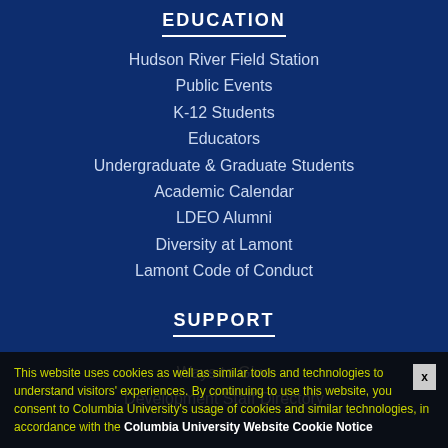EDUCATION
Hudson River Field Station
Public Events
K-12 Students
Educators
Undergraduate & Graduate Students
Academic Calendar
LDEO Alumni
Diversity at Lamont
Lamont Code of Conduct
SUPPORT
Ways to Give
Development Staff Directory
This website uses cookies as well as similar tools and technologies to understand visitors' experiences. By continuing to use this website, you consent to Columbia University's usage of cookies and similar technologies, in accordance with the Columbia University Website Cookie Notice